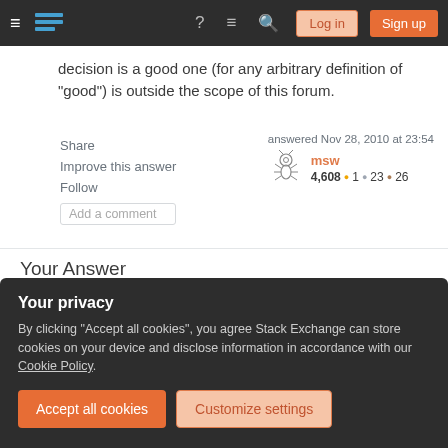Stack Exchange navigation bar with Log in and Sign up buttons
decision is a good one (for any arbitrary definition of "good") is outside the scope of this forum.
Share
Improve this answer
Follow
Add a comment
answered Nov 28, 2010 at 23:54
msw
4,608 ●1 ●23 ●26
Your Answer
Your privacy
By clicking "Accept all cookies", you agree Stack Exchange can store cookies on your device and disclose information in accordance with our Cookie Policy.
Accept all cookies   Customize settings